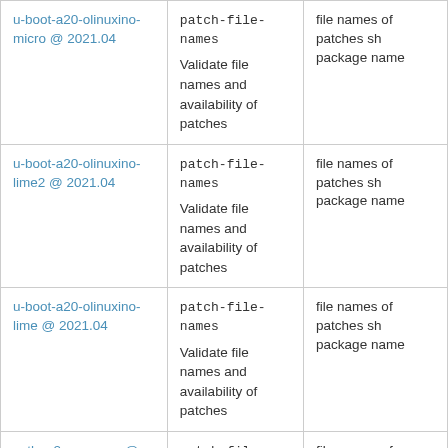| Package | Check | Description |
| --- | --- | --- |
| u-boot-a20-olinuxino-micro @ 2021.04 | patch-file-names
Validate file names and availability of patches | file names of patches sh…
package name |
| u-boot-a20-olinuxino-lime2 @ 2021.04 | patch-file-names
Validate file names and availability of patches | file names of patches sh…
package name |
| u-boot-a20-olinuxino-lime @ 2021.04 | patch-file-names
Validate file names and availability of patches | file names of patches sh…
package name |
| python2-pygpgme @ ... | patch-file-… | file names of patches sh… |